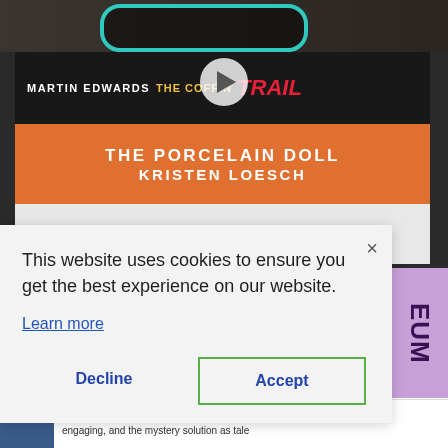[Figure (photo): Stacked books photo: Martin Edwards The Coffin Trail (dark cover), The Porcelain Doll by Kristen Loesch (orange cover), The Season by Sophia Hall (white cover), with sunglasses on top. A video play button is overlaid. A purple strip is visible on the right side.]
This website uses cookies to ensure you get the best experience on our website.
Learn more
Decline
Accept
The books read quickly, the characters are engaging, and the mystery solution as tale